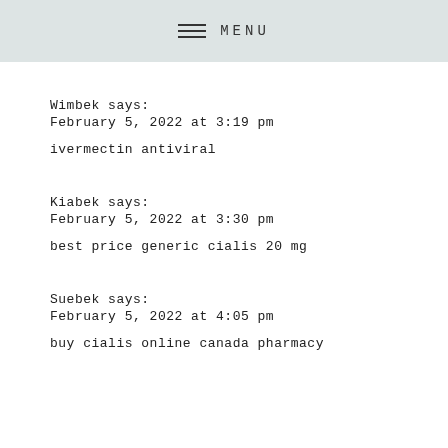MENU
Wimbek says:
February 5, 2022 at 3:19 pm

ivermectin antiviral
Kiabek says:
February 5, 2022 at 3:30 pm

best price generic cialis 20 mg
Suebek says:
February 5, 2022 at 4:05 pm

buy cialis online canada pharmacy